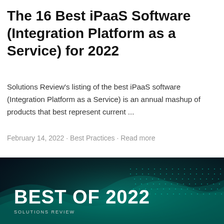The 16 Best iPaaS Software (Integration Platform as a Service) for 2022
Solutions Review's listing of the best iPaaS software (Integration Platform as a Service) is an annual mashup of products that best represent current ...
February 14, 2022 · Best Practices · Read more
[Figure (illustration): Dark teal abstract digital wave landscape with glowing dot grid pattern. Bold white text reads 'BEST OF 2022' with 'SOLUTIONS REVIEW' in smaller text below.]